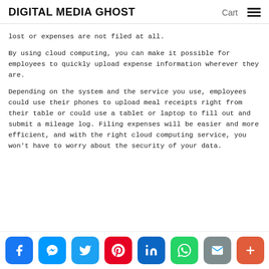DIGITAL MEDIA GHOST    Cart  ≡
lost or expenses are not filed at all.
By using cloud computing, you can make it possible for employees to quickly upload expense information wherever they are.
Depending on the system and the service you use, employees could use their phones to upload meal receipts right from their table or could use a tablet or laptop to fill out and submit a mileage log. Filing expenses will be easier and more efficient, and with the right cloud computing service, you won't have to worry about the security of your data.
Social share bar: Facebook, Messenger, Twitter, Pinterest, LinkedIn, WhatsApp, Email, More